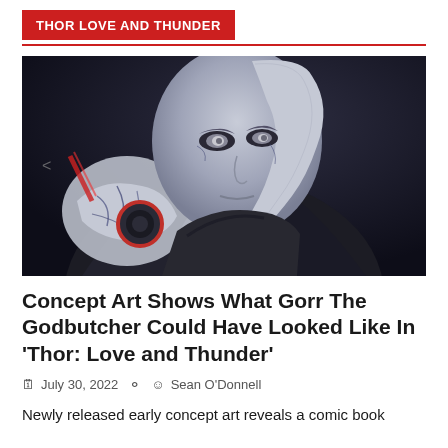THOR LOVE AND THUNDER
[Figure (photo): Concept art of Gorr the Godbutcher from Thor: Love and Thunder — a pale, blue-veined humanoid figure with elongated head features, dark hollowed eyes, dark flowing robes and a circular red-rimmed shoulder emblem, posed against a dark background.]
Concept Art Shows What Gorr The Godbutcher Could Have Looked Like In 'Thor: Love and Thunder'
July 30, 2022   Sean O'Donnell
Newly released early concept art reveals a comic book